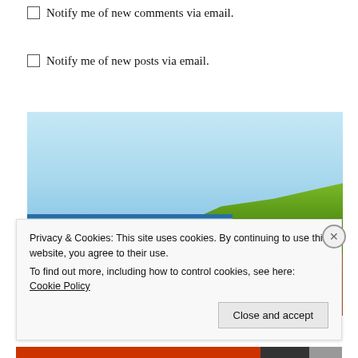Notify me of new comments via email.
Notify me of new posts via email.
[Figure (photo): Coastal landscape photo showing blue sky, dark blue sea, red-brown cliff, and green grass on a sunny day]
Privacy & Cookies: This site uses cookies. By continuing to use this website, you agree to their use. To find out more, including how to control cookies, see here: Cookie Policy
Close and accept